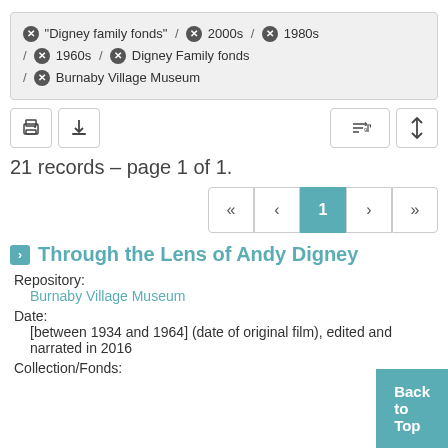"Digney family fonds" / 2000s / 1980s / 1960s / Digney Family fonds / Burnaby Village Museum
[Figure (screenshot): Toolbar with print, download, sort, and column-toggle buttons]
21 records – page 1 of 1.
[Figure (screenshot): Pagination control showing page 1 selected, with first, previous, next, last buttons]
Through the Lens of Andy Digney
Repository:
Burnaby Village Museum
Date:
[between 1934 and 1964] (date of original film), edited and narrated in 2016
Collection/Fonds: